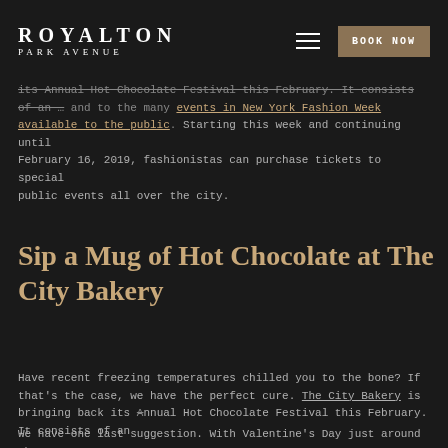ROYALTON PARK AVENUE | BOOK NOW
its Annual Hot Chocolate Festival this February. It consists of an ... and
Sip a Mug of Hot Chocolate at The City Bakery
Have recent freezing temperatures chilled you to the bone? If that’s the case, we have the perfect cure. The City Bakery is bringing back its Annual Hot Chocolate Festival this February. It consists of an ... and
This site uses cookies to provide you with the best possible experience. You may choose to enable or disable cookies in your browser's policy settings.
X
We have one last suggestion. With Valentine’s Day just around the